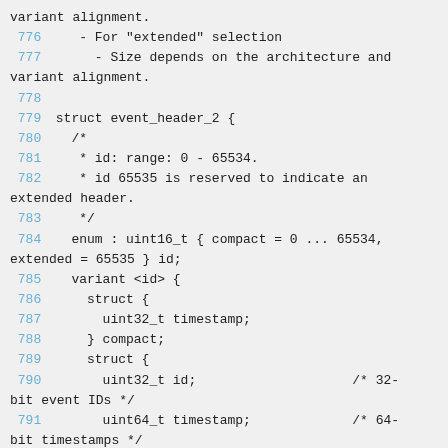variant alignment.
 776    - For "extended" selection
 777      - Size depends on the architecture and variant alignment.
 778
 779 struct event_header_2 {
 780   /*
 781    * id: range: 0 - 65534.
 782    * id 65535 is reserved to indicate an extended header.
 783    */
 784   enum : uint16_t { compact = 0 ... 65534, extended = 65535 } id;
 785   variant <id> {
 786     struct {
 787       uint32_t timestamp;
 788     } compact;
 789     struct {
 790       uint32_t id;                    /* 32-bit event IDs */
 791       uint64_t timestamp;             /* 64-bit timestamps */
 792     } extended;
 793   } v;
 794 };